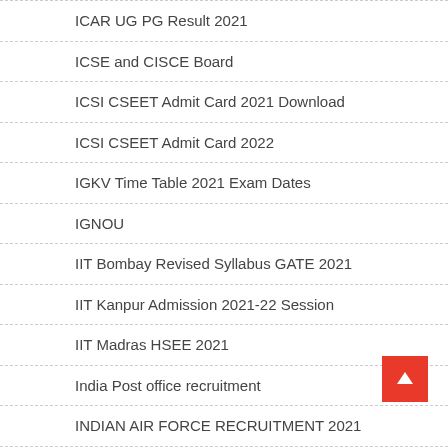ICAR UG PG Result 2021
ICSE and CISCE Board
ICSI CSEET Admit Card 2021 Download
ICSI CSEET Admit Card 2022
IGKV Time Table 2021 Exam Dates
IGNOU
IIT Bombay Revised Syllabus GATE 2021
IIT Kanpur Admission 2021-22 Session
IIT Madras HSEE 2021
India Post office recruitment
INDIAN AIR FORCE RECRUITMENT 2021
INDIAN INSTITUTE OF TECHNOLOGY